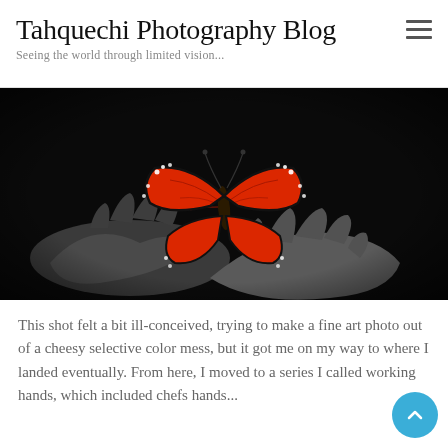Tahquechi Photography Blog
Seeing the world through limited vision...
[Figure (photo): Black and white photograph of two hands cupping a vibrant red monarch butterfly with selective color effect]
This shot felt a bit ill-conceived, trying to make a fine art photo out of a cheesy selective color mess, but it got me on my way to where I landed eventually. From here, I moved to a series I called working hands, which included chefs hands...